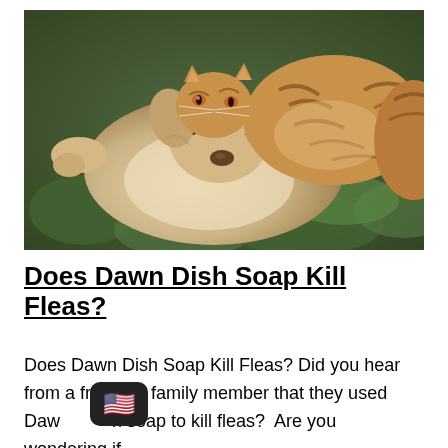[Figure (photo): A cat and a golden retriever dog lying together on green foliage/plants outdoors. The cat is nestled against the dog's head. The dog is lying on its back. Photo has a warm, slightly vintage tone.]
Does Dawn Dish Soap Kill Fleas?
Does Dawn Dish Soap Kill Fleas? Did you hear from a friend or family member that they used Daw h soap to kill fleas? Are you wondering if